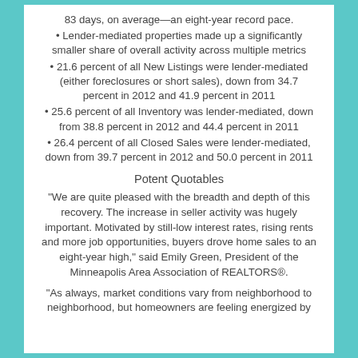83 days, on average—an eight-year record pace.
Lender-mediated properties made up a significantly smaller share of overall activity across multiple metrics
21.6 percent of all New Listings were lender-mediated (either foreclosures or short sales), down from 34.7 percent in 2012 and 41.9 percent in 2011
25.6 percent of all Inventory was lender-mediated, down from 38.8 percent in 2012 and 44.4 percent in 2011
26.4 percent of all Closed Sales were lender-mediated, down from 39.7 percent in 2012 and 50.0 percent in 2011
Potent Quotables
“We are quite pleased with the breadth and depth of this recovery. The increase in seller activity was hugely important. Motivated by still-low interest rates, rising rents and more job opportunities, buyers drove home sales to an eight-year high,” said Emily Green, President of the Minneapolis Area Association of REALTORS®.
“As always, market conditions vary from neighborhood to neighborhood, but homeowners are feeling energized by